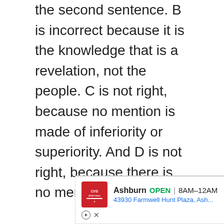the second sentence. B is incorrect because it is the knowledge that is a revelation, not the people. C is not right, because no mention is made of inferiority or superiority. And D is not right, because there is no mention of this.
9-12) Answers: A, C, E, F. The answers can be found in paragraph 7. A and F arc in the fifth sentence of paragraph 7, E in the fourth sentence of the same paragraph. C is at the end of the paragraph. The distractors are wrong for the following rea¬sons: B is incorrect, because
[Figure (other): Advertisement banner for CVS Pharmacy showing Ashburn location, OPEN 8AM-12AM, address 43930 Farmwell Hunt Plaza, Ash...]